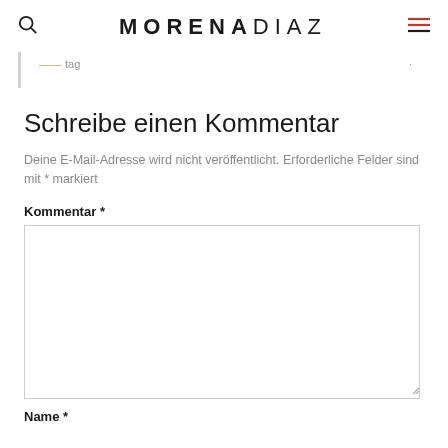MORENADIAZ
Schreibe einen Kommentar
Deine E-Mail-Adresse wird nicht veröffentlicht. Erforderliche Felder sind mit * markiert
Kommentar *
Name *